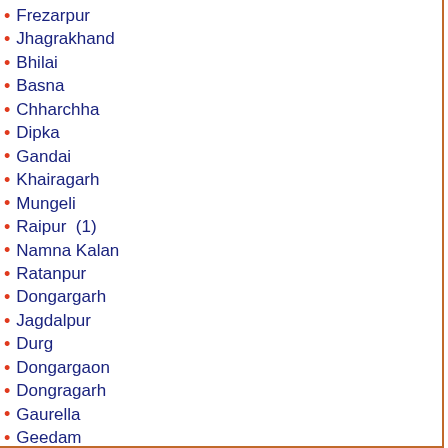Frezarpur
Jhagrakhand
Bhilai
Basna
Chharchha
Dipka
Gandai
Khairagarh
Mungeli
Raipur  (1)
Namna Kalan
Ratanpur
Dongargarh
Jagdalpur
Durg
Dongargaon
Dongragarh
Gaurella
Geedam
Gharghoda
Kumhari